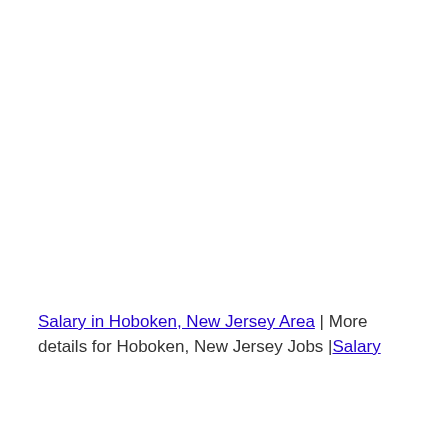Salary in Hoboken, New Jersey Area | More details for Hoboken, New Jersey Jobs |Salary